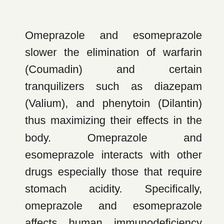Omeprazole and esomeprazole slower the elimination of warfarin (Coumadin) and certain tranquilizers such as diazepam (Valium), and phenytoin (Dilantin) thus maximizing their effects in the body. Omeprazole and esomeprazole interacts with other drugs especially those that require stomach acidity. Specifically, omeprazole and esomeprazole affects human immunodeficiency virus (HIV) drugs such as nelfinavir. They can either increase or decrease certain drugs' effectiveness. Health care providers must be knowledgeable and aware of these interactions to prevent untoward incidents and to let drugs function effectively the way they use to be. When you are pregnant or got